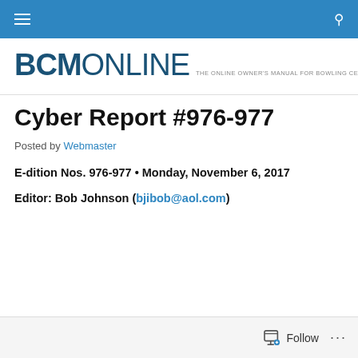BCM ONLINE navigation bar
BCM ONLINE — THE ONLINE OWNER'S MANUAL FOR BOWLING CENTER OPERATION
Cyber Report #976-977
Posted by Webmaster
E-dition Nos. 976-977 • Monday, November 6, 2017
Editor: Bob Johnson (bjibob@aol.com)
Follow ...